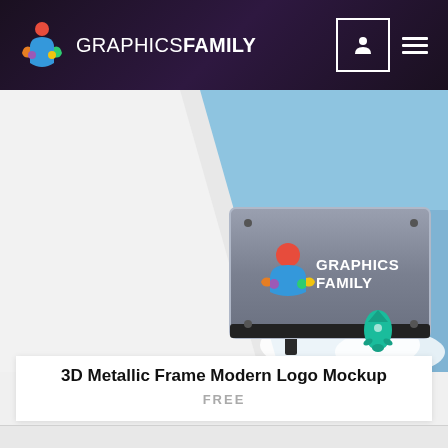GRAPHICS FAMILY
[Figure (photo): A 3D metallic frame sign mounted on a building exterior showing the GraphicsFamily logo against a blue sky background]
3D Metallic Frame Modern Logo Mockup
FREE